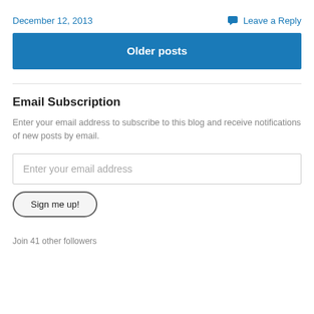December 12, 2013
Leave a Reply
Older posts
Email Subscription
Enter your email address to subscribe to this blog and receive notifications of new posts by email.
Enter your email address
Sign me up!
Join 41 other followers